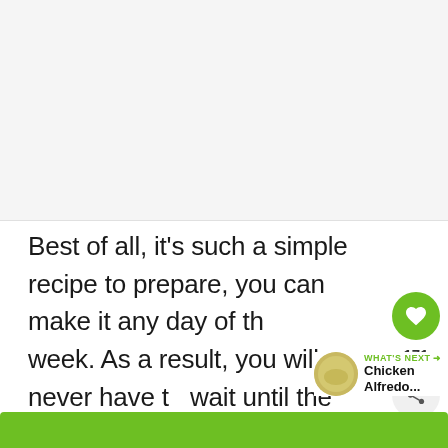[Figure (photo): Large food photo placeholder at top of page]
Best of all, it's such a simple recipe to prepare, you can make it any day of the week. As a result, you will never have to wait until the weekend to enjoy this comfort food!